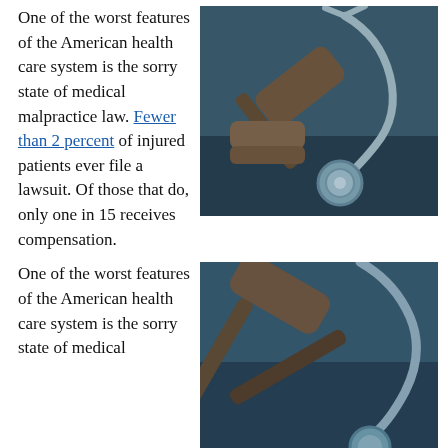One of the worst features of the American health care system is the sorry state of medical malpractice law. Fewer than 2 percent of injured patients ever file a lawsuit. Of those that do, only one in 15 receives compensation.
[Figure (photo): Close-up photo with blue-teal tint of a wooden judge's gavel and a medical stethoscope on a dark surface, suggesting medical malpractice legal context.]
One of the worst features of the American health care system is the sorry state of medical
[Figure (photo): Close-up photo with blue-teal tint of a wooden judge's gavel and a medical stethoscope, cropped to show the top portion of the instruments.]